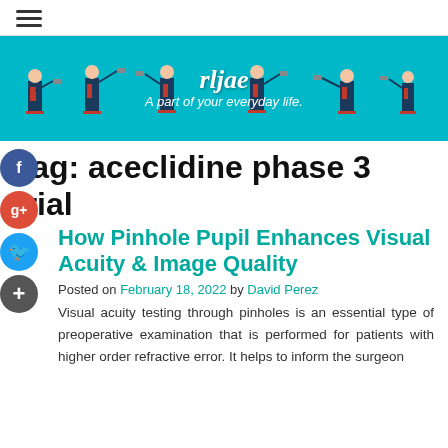≡
[Figure (illustration): Banner with teal background showing multiple illustrated figures in business attire pointing at podiums. Site name 'rljae' with tagline 'A part of your everyday life.']
Tag: aceclidine phase 3 trial
How Pinhole Pupil Enhances Visual Acuity & Image Quality
Posted on February 18, 2022 by David Perez
Visual acuity testing through pinholes is an essential type of preoperative examination that is performed for patients with higher order refractive error. It helps to inform the surgeon